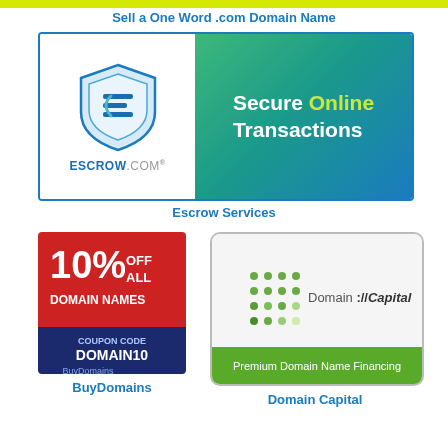[Figure (other): Yellow/green top bar decorative strip]
Sell a One Word .com Domain Name
[Figure (logo): Escrow.com banner with shield logo on white left side and 'Secure Online Transactions' text on green-teal-blue gradient right side]
Escrow Services
[Figure (logo): BuyDomains ad: red/dark blue background showing '10% OFF ALL DOMAIN NAMES COUPON CODE DOMAIN10' with BuyDomains logo]
BuyDomains
[Figure (logo): Domain://Capital logo with dot grid and 'Premium Domain Name Financing' green banner, rounded rectangle border]
Domain Capital